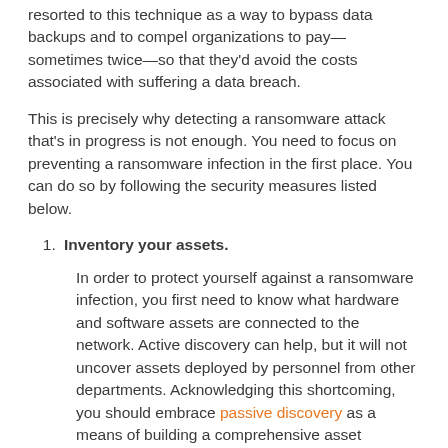resorted to this technique as a way to bypass data backups and to compel organizations to pay—sometimes twice—so that they'd avoid the costs associated with suffering a data breach.
This is precisely why detecting a ransomware attack that's in progress is not enough. You need to focus on preventing a ransomware infection in the first place. You can do so by following the security measures listed below.
Inventory your assets.
In order to protect yourself against a ransomware infection, you first need to know what hardware and software assets are connected to the network. Active discovery can help, but it will not uncover assets deployed by personnel from other departments. Acknowledging this shortcoming, you should embrace passive discovery as a means of building a comprehensive asset inventory as well as keeping that list of connected